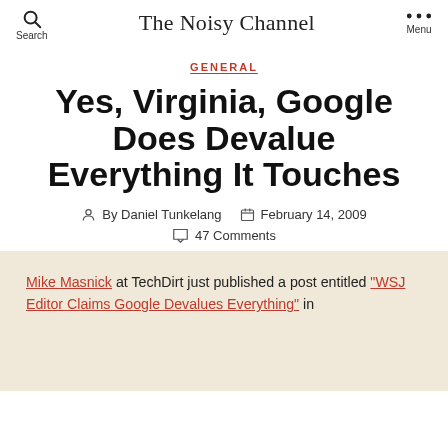Search | The Noisy Channel | Menu
GENERAL
Yes, Virginia, Google Does Devalue Everything It Touches
By Daniel Tunkelang  February 14, 2009  47 Comments
Mike Masnick at TechDirt just published a post entitled "WSJ Editor Claims Google Devalues Everything" in